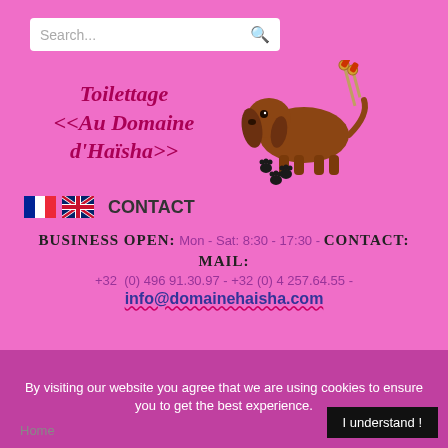Search...
[Figure (logo): Toilettage Au Domaine d'Haisha logo with dog and scissors illustration]
CONTACT
BUSINESS OPEN: Mon - Sat: 8:30 - 17:30 - CONTACT: +32 (0) 496 91.30.97 - +32 (0) 4 257.64.55 - MAIL: info@domainehaisha.com
By visiting our website you agree that we are using cookies to ensure you to get the best experience.
I understand !
Home